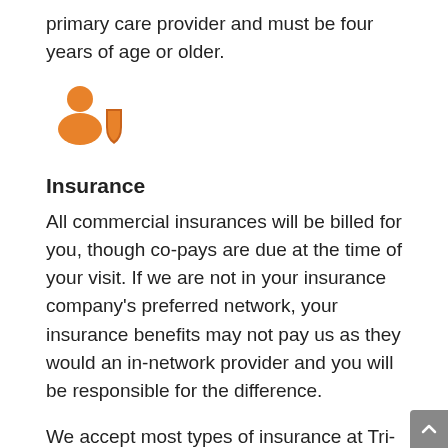primary care provider and must be four years of age or older.
[Figure (illustration): Orange icon of a person with a shield, representing insurance/protection]
Insurance
All commercial insurances will be billed for you, though co-pays are due at the time of your visit. If we are not in your insurance company's preferred network, your insurance benefits may not pay us as they would an in-network provider and you will be responsible for the difference.
We accept most types of insurance at Tri-State Memorial Hospital & Medical Campus. If you have questions if one of our providers is "in network" for your health insurance plan, please contact your insurance company directly or